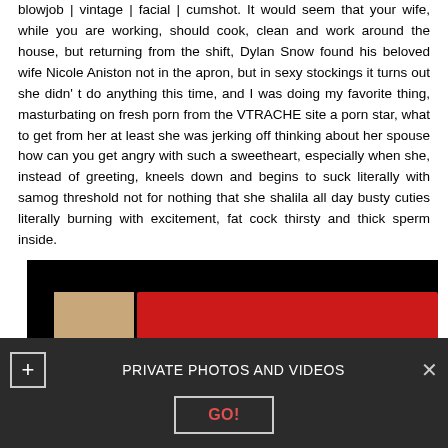blowjob | vintage | facial | cumshot. It would seem that your wife, while you are working, should cook, clean and work around the house, but returning from the shift, Dylan Snow found his beloved wife Nicole Aniston not in the apron, but in sexy stockings it turns out she didn't do anything this time, and I was doing my favorite thing, masturbating on fresh porn from the VTRACHE site a porn star, what to get from her at least she was jerking off thinking about her spouse how can you get angry with such a sweetheart, especially when she, instead of greeting, kneels down and begins to suck literally with samog threshold not for nothing that she shalila all day busty cuties literally burning with excitement, fat cock thirsty and thick sperm inside.
[Figure (photo): Video thumbnail showing a dark background with red leather surface and a partial view of a person]
PRIVATE PHOTOS AND VIDEOS  GO!